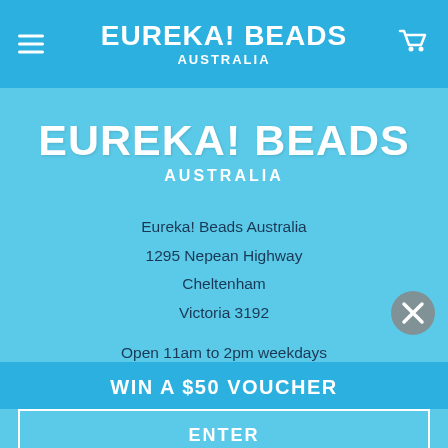EUREKA! BEADS AUSTRALIA
EUREKA! BEADS AUSTRALIA
Eureka! Beads Australia
1295 Nepean Highway
Cheltenham
Victoria 3192
Open 11am to 2pm weekdays
WIN A $50 VOUCHER
ENTER